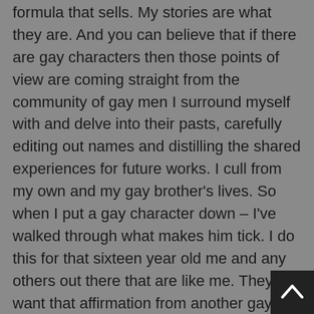formula that sells. My stories are what they are. And you can believe that if there are gay characters then those points of view are coming straight from the community of gay men I surround myself with and delve into their pasts, carefully editing out names and distilling the shared experiences for future works. I cull from my own and my gay brother's lives. So when I put a gay character down – I've walked through what makes him tick. I do this for that sixteen year old me and any others out there that are like me. They want that affirmation from another gay man. Because we are gay men.
Men are the object of my desire. Men are the object of my interest. Doesn't mean I won't write strong female characters in my stories (I have two very important women in my own immediate family that I must answer to so you bet your ass there will be very few weak women in my tales – I want my girls to know everything they can be as well – I am all about spreading the wealth). But in that, any women characters I create is more from a desire to express what I want my girls to take away from them. Doesn't mean for one moment that I know what the hell I am writing about them from the inside – I am simply not a